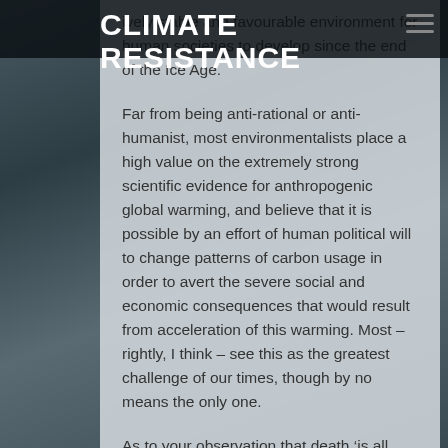CLIMATE RESISTANCE
ively stable and favourable environment for human societies to develop since the end of the Ice Age.
Far from being anti-rational or anti-humanist, most environmentalists place a high value on the extremely strong scientific evidence for anthropogenic global warming, and believe that it is possible by an effort of human political will to change patterns of carbon usage in order to avert the severe social and economic consequences that would result from acceleration of this warming. Most – rightly, I think – see this as the greatest challenge of our times, though by no means the only one.
As to your observation that death ‘is all they [the Green Party] can talk about”, I’d simply refer people to the Green Party website at